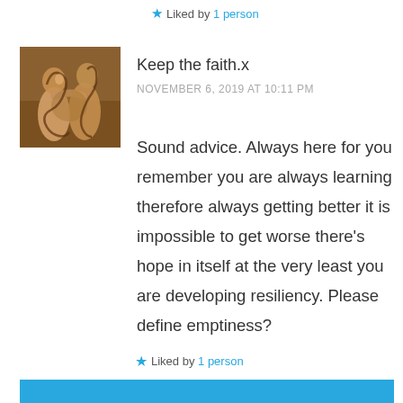★ Liked by 1 person
[Figure (photo): Avatar image of a figurative painting showing two human figures]
Keep the faith.x
NOVEMBER 6, 2019 AT 10:11 PM
Sound advice. Always here for you remember you are always learning therefore always getting better it is impossible to get worse there’s hope in itself at the very least you are developing resiliency. Please define emptiness?
★ Liked by 1 person